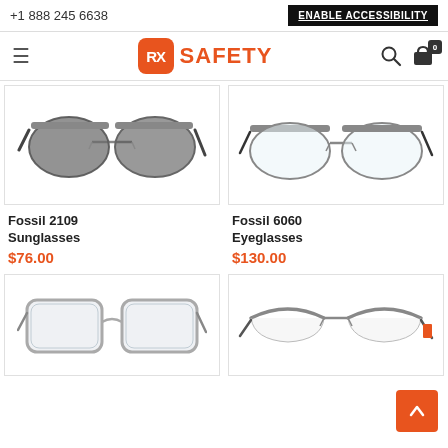+1 888 245 6638   ENABLE ACCESSIBILITY
[Figure (logo): RX Safety logo with hamburger menu, search icon, and cart icon showing 0 items]
[Figure (photo): Fossil 2109 Sunglasses - aviator style dark tinted sunglasses with metal frame]
[Figure (photo): Fossil 6060 Eyeglasses - aviator style clear lens eyeglasses with metal frame]
Fossil 2109 Sunglasses
$76.00
Fossil 6060 Eyeglasses
$130.00
[Figure (photo): Clear plastic frame rectangular eyeglasses]
[Figure (photo): Metal semi-rimless eyeglasses with brown/orange accents]